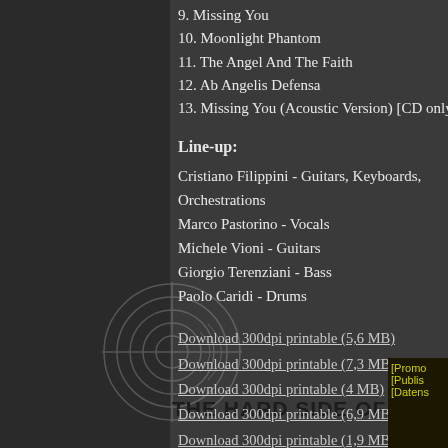9. Missing You
10. Moonlight Phantom
11. The Angel And The Faith
12. Ab Angelis Defensa
13. Missing You (Acoustic Version) [CD only Bonus T
Line-up:
Cristiano Filippini - Guitars, Keyboards, Orchestrations
Marco Pastorino - Vocals
Michele Vioni - Guitars
Giorgio Terenziani - Bass
Paolo Caridi - Drums
Download 300dpi printable (5,6 MB)
Download 300dpi printable (7,3 MB)
Download 300dpi printable (4 MB)
Download 300dpi printable (6,9 MB)
Download 300dpi printable (1,9 MB)
Download 300dpi printable (164 kB)
[Figure (logo): Circular crosshair/target logo watermark on dark background]
THE HARD SIDE OF LIFE
[Promo
[Publis
[Datens